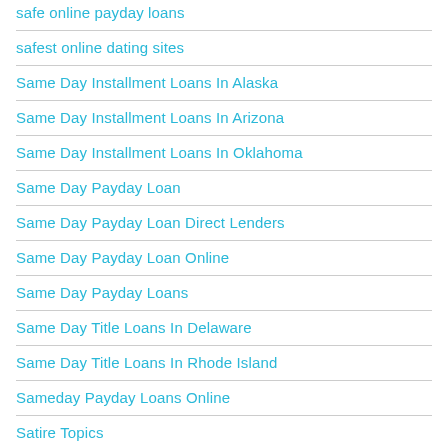safe online payday loans
safest online dating sites
Same Day Installment Loans In Alaska
Same Day Installment Loans In Arizona
Same Day Installment Loans In Oklahoma
Same Day Payday Loan
Same Day Payday Loan Direct Lenders
Same Day Payday Loan Online
Same Day Payday Loans
Same Day Title Loans In Delaware
Same Day Title Loans In Rhode Island
Sameday Payday Loans Online
Satire Topics